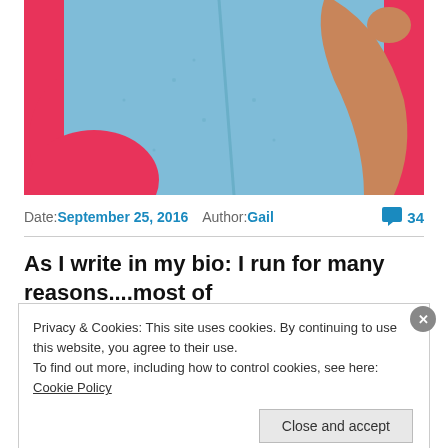[Figure (photo): A person wearing a light blue cardigan sweater against a bright pink/red background, with their arm raised. Only the torso and arm are visible, cropped at the top.]
Date: September 25, 2016  Author: Gail  💬 34
As I write in my bio: I run for many reasons....most of
Privacy & Cookies: This site uses cookies. By continuing to use this website, you agree to their use.
To find out more, including how to control cookies, see here: Cookie Policy
Close and accept